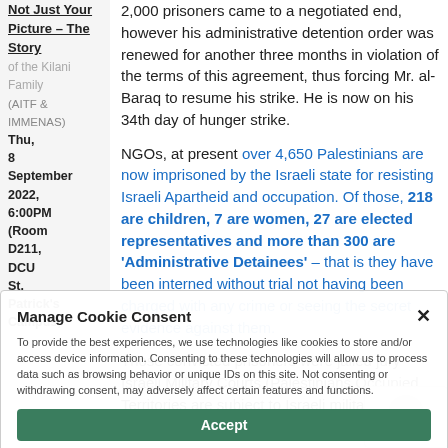Not Just Your Picture – The Story of the Kilani Family
(AITF & IMMENAS)
Thu, 8 September 2022, 6:00PM (Room D211, DCU St. Patrick's Campus,
2,000 prisoners came to a negotiated end, however his administrative detention order was renewed for another three months in violation of the terms of this agreement, thus forcing Mr. al-Baraq to resume his strike. He is now on his 34th day of hunger strike.
NGOs, at present over 4,650 Palestinians are now imprisoned by the Israeli state for resisting Israeli Apartheid and occupation. Of those, 218 are children, 7 are women, 27 are elected representatives and more than 300 are 'Administrative Detainees' – that is they have been interned without trial not having been charged with any crime or seeing the secret evidence against them.
Those convicted prisoners were jailed jury Israeli Military Courts (Palestinians Occupied Territories are subject to Israeli military law. Israel's colonial settlers are ruled
Manage Cookie Consent
To provide the best experiences, we use technologies like cookies to store and/or access device information. Consenting to these technologies will allow us to process data such as browsing behavior or unique IDs on this site. Not consenting or withdrawing consent, may adversely affect certain features and functions.
Accept
Deny
View preferences
Cookie Policy